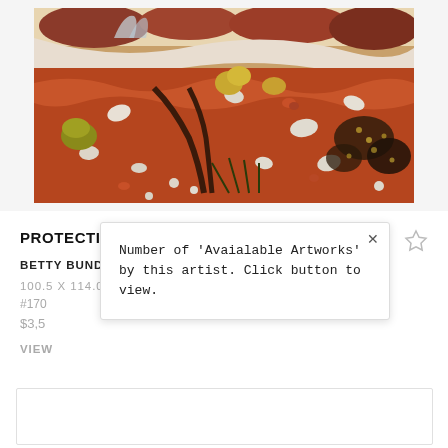[Figure (photo): Australian Aboriginal landscape painting 'Protecting the Land' by Betty Bundamurra — dense earth-toned artwork showing red ochre landscape with rocks, plants, dotted patterns, and flowing lines in traditional style.]
PROTECTING THE LAND
BETTY BUNDAMURRA 8
100.5 X 114.0 CM
#170
$3,5
VIEW
Number of 'Avaialable Artworks' by this artist. Click button to view.